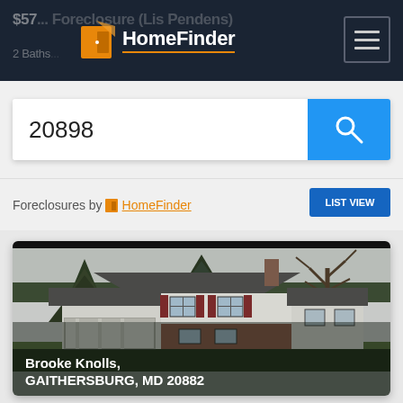HomeFinder
$57... Foreclosure (Lis Pendens)
2 Baths...
20898
Foreclosures by HomeFinder
[Figure (photo): Exterior photo of a two-story residential house with brick and white siding, covered porch, red shutters, and bare trees in background. Address: Brooke Knolls, GAITHERSBURG, MD 20882]